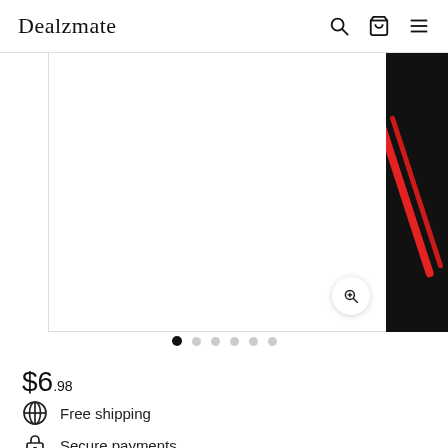Dealzmate
[Figure (photo): Product image carousel showing a white main panel with a zoom button, left side panel, and right panel with black background and red diagonal stripe element]
• • • • • •  (carousel pagination dots, first dot active)
$6.98
Free shipping
Secure payments
In stock, ready to ship